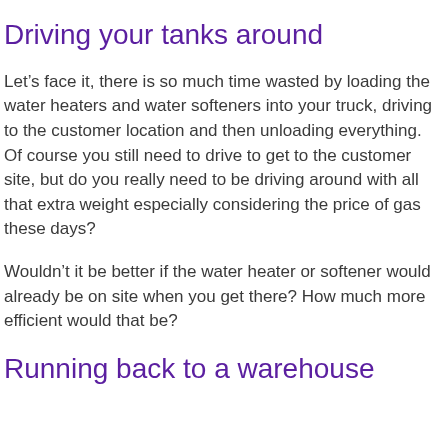Driving your tanks around
Let’s face it, there is so much time wasted by loading the water heaters and water softeners into your truck, driving to the customer location and then unloading everything. Of course you still need to drive to get to the customer site, but do you really need to be driving around with all that extra weight especially considering the price of gas these days?
Wouldn’t it be better if the water heater or softener would already be on site when you get there? How much more efficient would that be?
Running back to a warehouse